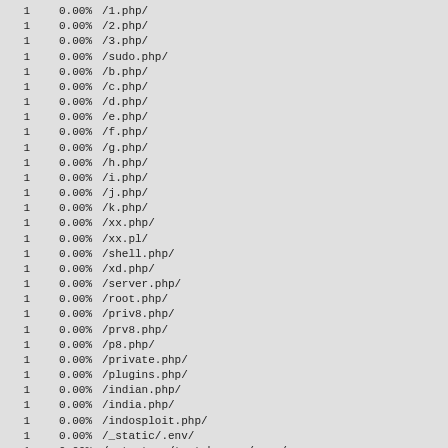| 1 | 0.00% | /1.php/ |
| 1 | 0.00% | /2.php/ |
| 1 | 0.00% | /3.php/ |
| 1 | 0.00% | /sudo.php/ |
| 1 | 0.00% | /b.php/ |
| 1 | 0.00% | /c.php/ |
| 1 | 0.00% | /d.php/ |
| 1 | 0.00% | /e.php/ |
| 1 | 0.00% | /f.php/ |
| 1 | 0.00% | /g.php/ |
| 1 | 0.00% | /h.php/ |
| 1 | 0.00% | /i.php/ |
| 1 | 0.00% | /j.php/ |
| 1 | 0.00% | /k.php/ |
| 1 | 0.00% | /xx.php/ |
| 1 | 0.00% | /xx.pl/ |
| 1 | 0.00% | /shell.php/ |
| 1 | 0.00% | /xd.php/ |
| 1 | 0.00% | /server.php/ |
| 1 | 0.00% | /root.php/ |
| 1 | 0.00% | /priv8.php/ |
| 1 | 0.00% | /prv8.php/ |
| 1 | 0.00% | /p8.php/ |
| 1 | 0.00% | /private.php/ |
| 1 | 0.00% | /plugins.php/ |
| 1 | 0.00% | /indian.php/ |
| 1 | 0.00% | /india.php/ |
| 1 | 0.00% | /indosploit.php/ |
| 1 | 0.00% | /_static/.env/ |
| 1 | 0.00% | /__tests__/test-become/.env/ |
| 1 | 0.00% | /.c9/metadata/environment/.env/ |
| 1 | 0.00% | /.docker/.env/ |
| 1 | 0.00% | /.docker/laravel/app/.env.php/ |
| 1 | 0.00% | /.env.backup/ |
| 1 | 0.00% | /.env.dev/ |
| 1 | 0.00% | /.env.development.local/ |
| 1 | 0.00% | /.env.docker.dev/ |
| 1 | 0.00% | /.env.example/ |
| 1 | 0.00% | /.env.local/ |
| 1 | 0.00% | /.env.php/ |
| 1 | 0.00% | /.env.prod/ |